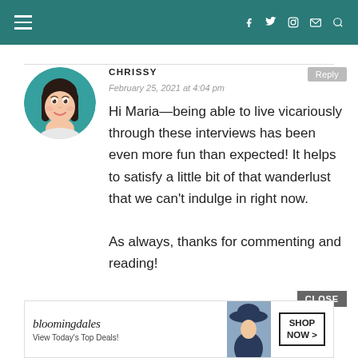Navigation bar with hamburger menu and social icons (Facebook, Twitter, Instagram, Mail, Search)
CHRISSY
February 25, 2021 at 4:04 pm

Hi Maria—being able to live vicariously through these interviews has been even more fun than expected! It helps to satisfy a little bit of that wanderlust that we can't indulge in right now.

As always, thanks for commenting and reading!
[Figure (illustration): Circular avatar illustration of a young woman with dark hair, teal background]
[Figure (photo): Bloomingdale's advertisement banner with logo, 'View Today's Top Deals!' text, photo of woman in hat, and SHOP NOW button]